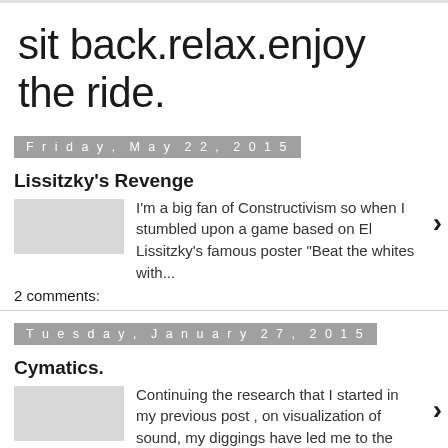sit back.relax.enjoy the ride.
Friday, May 22, 2015
Lissitzky's Revenge
I'm a big fan of Constructivism so when I stumbled upon a game based on El Lissitzky's famous poster "Beat the whites with...
2 comments:
Tuesday, January 27, 2015
Cymatics.
Continuing the research that I started in my previous post , on visualization of sound, my diggings have led me to the father of sound wav...
1 comment: